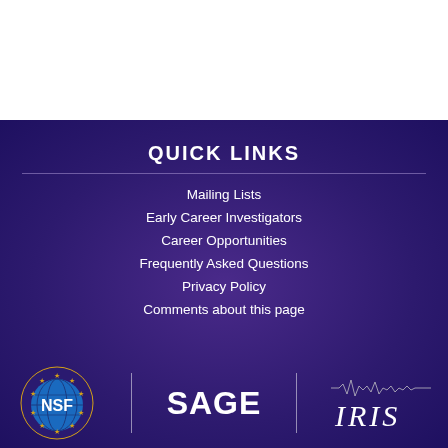QUICK LINKS
Mailing Lists
Early Career Investigators
Career Opportunities
Frequently Asked Questions
Privacy Policy
Comments about this page
[Figure (logo): NSF (National Science Foundation) logo — globe with stars, blue and gold]
[Figure (logo): SAGE logo in white bold text]
[Figure (logo): IRIS logo with seismograph waveform above text in white]